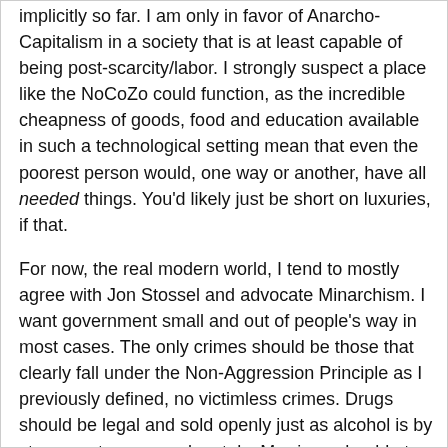implicitly so far. I am only in favor of Anarcho-Capitalism in a society that is at least capable of being post-scarcity/labor. I strongly suspect a place like the NoCoZo could function, as the incredible cheapness of goods, food and education available in such a technological setting mean that even the poorest person would, one way or another, have all needed things. You'd likely just be short on luxuries, if that.
For now, the real modern world, I tend to mostly agree with Jon Stossel and advocate Minarchism. I want government small and out of people's way in most cases. The only crimes should be those that clearly fall under the Non-Aggression Principle as I previously defined, no victimless crimes. Drugs should be legal and sold openly just as alcohol is by stores, not gangs and cartels. Marriage should at worst be open to all, no discriminating, and at best not in its purview at all. Taxes should be limited solely to a consumption tax; not based on income, no heavily taxing vices or discounting kids, marriage or other things we "should" be doing (social engineering, I call it), none of all that crap. H&R Block will hate it, but the rest of us will never have to file taxes